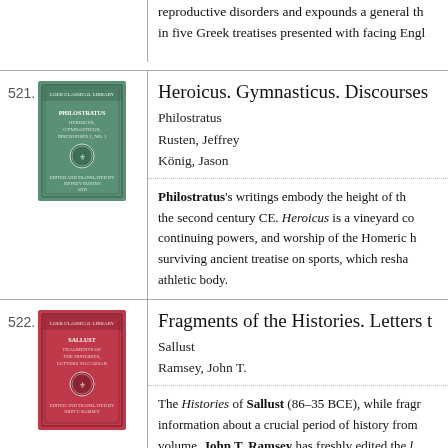reproductive disorders and expounds a general theory in five Greek treatises presented with facing English...
521.
[Figure (illustration): Green book cover for Philostratus Heroicus, Gymnasticus, Discourses]
Heroicus. Gymnasticus. Discourses
Philostratus
Rusten, Jeffrey
König, Jason
Philostratus's writings embody the height of the second century CE. Heroicus is a vineyard conversation about the continuing powers, and worship of the Homeric heroes surviving ancient treatise on sports, which reshaped the athletic body.
522.
[Figure (illustration): Red book cover for Sallust Fragments of the Histories, Letters to Caesar]
Fragments of the Histories. Letters to...
Sallust
Ramsey, John T.
The Histories of Sallust (86–35 BCE), while fragmentary, remain a vital source of information about a crucial period of history. In this volume, John T. Ramsey has freshly edited the Pseudo-Sallustian Letters to Caesar, completing the Loeb...